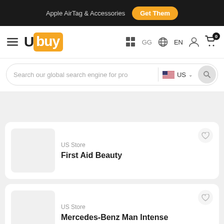Apple AirTag & Accessories  Get Them
[Figure (logo): Ubuy logo with hamburger menu and navigation icons (GG, EN, user, cart with 0 badge)]
Search our global search engine for pro  US
US Store
First Aid Beauty
US Store
Mercedes-Benz Man Intense